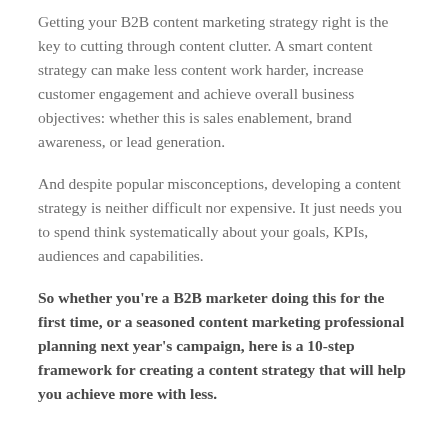Getting your B2B content marketing strategy right is the key to cutting through content clutter. A smart content strategy can make less content work harder, increase customer engagement and achieve overall business objectives: whether this is sales enablement, brand awareness, or lead generation.
And despite popular misconceptions, developing a content strategy is neither difficult nor expensive. It just needs you to spend think systematically about your goals, KPIs, audiences and capabilities.
So whether you're a B2B marketer doing this for the first time, or a seasoned content marketing professional planning next year's campaign, here is a 10-step framework for creating a content strategy that will help you achieve more with less.